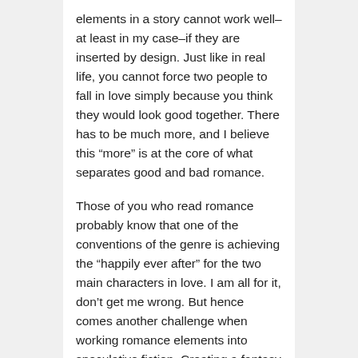elements in a story cannot work well–at least in my case–if they are inserted by design. Just like in real life, you cannot force two people to fall in love simply because you think they would look good together. There has to be much more, and I believe this “more” is at the core of what separates good and bad romance.
Those of you who read romance probably know that one of the conventions of the genre is achieving the “happily ever after” for the two main characters in love. I am all for it, don’t get me wrong. But hence comes another challenge when working romance elements into speculative fiction. Creating a fantasy world and an epic adventure story that is even remotely realistic has to come with reality checks–including the fact that